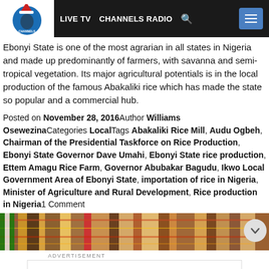LIVE TV  CHANNELS RADIO
Ebonyi State is one of the most agrarian in all states in Nigeria and made up predominantly of farmers, with savanna and semi-tropical vegetation. Its major agricultural potentials is in the local production of the famous Abakaliki rice which has made the state so popular and a commercial hub.
Posted on November 28, 2016Author Williams OsewezinaCategories LocalTags Abakaliki Rice Mill, Audu Ogbeh, Chairman of the Presidential Taskforce on Rice Production, Ebonyi State Governor Dave Umahi, Ebonyi State rice production, Ettem Amagu Rice Farm, Governor Abubakar Bagudu, Ikwo Local Government Area of Ebonyi State, importation of rice in Nigeria, Minister of Agriculture and Rural Development, Rice production in Nigeria1 Comment
[Figure (photo): Decorative horizontal image strip showing colorful textile/fabric patterns]
ADVERTISEMENT
[Figure (screenshot): Advertisement showing Dine-in and Curbside pickup options with chef icon and navigation arrow]